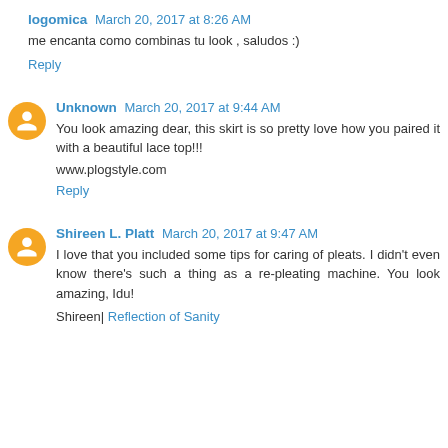logomica March 20, 2017 at 8:26 AM
me encanta como combinas tu look , saludos :)
Reply
Unknown March 20, 2017 at 9:44 AM
You look amazing dear, this skirt is so pretty love how you paired it with a beautiful lace top!!!
www.plogstyle.com
Reply
Shireen L. Platt March 20, 2017 at 9:47 AM
I love that you included some tips for caring of pleats. I didn't even know there's such a thing as a re-pleating machine. You look amazing, Idu!
Shireen| Reflection of Sanity